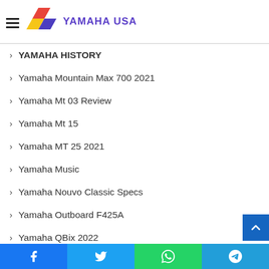YAMAHA USA
YAMAHA HISTORY
Yamaha Mountain Max 700 2021
Yamaha Mt 03 Review
Yamaha Mt 15
Yamaha MT 25 2021
Yamaha Music
Yamaha Nouvo Classic Specs
Yamaha Outboard F425A
Yamaha QBix 2022
Yamaha R1 Top Speed 2022
Yamaha R1m Top Speed
Facebook | Twitter | WhatsApp | Telegram